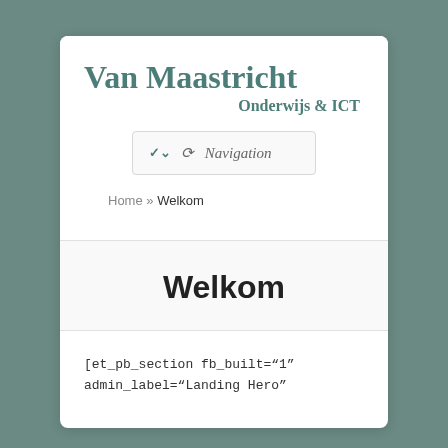Van Maastricht Onderwijs & ICT
[Figure (screenshot): Navigation dropdown button with chevron icon and italic 'Navigation' label]
Home » Welkom
Welkom
[et_pb_section fb_built="1" admin_label="Landing Hero"